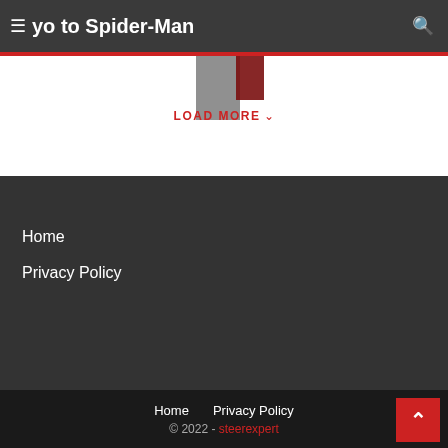yo to Spider-Man
LOAD MORE
Home
Privacy Policy
Home    Privacy Policy
© 2022 - steerexpert